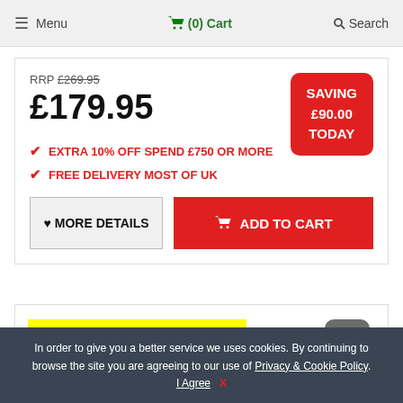≡ Menu  🛒 (0) Cart  🔍 Search
RRP £269.95
£179.95
SAVING £90.00 TODAY
EXTRA 10% OFF SPEND £750 OR MORE
FREE DELIVERY MOST OF UK
♥ MORE DETAILS
🛒 ADD TO CART
EXTRA £104.00 OFF TODAY
In order to give you a better service we uses cookies. By continuing to browse the site you are agreeing to our use of Privacy & Cookie Policy. I Agree X